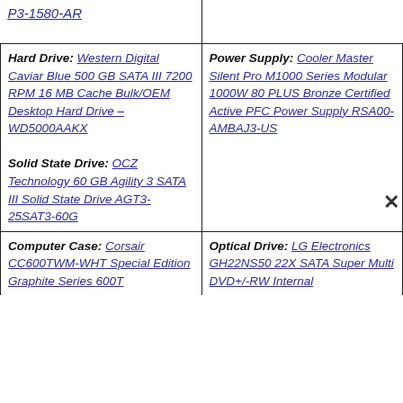| Column 1 | Column 2 |
| --- | --- |
| P3-1580-AR |  |
| Hard Drive: Western Digital Caviar Blue 500 GB SATA III 7200 RPM 16 MB Cache Bulk/OEM Desktop Hard Drive – WD5000AAKX
Solid State Drive: OCZ Technology 60 GB Agility 3 SATA III Solid State Drive AGT3-25SAT3-60G | Power Supply: Cooler Master Silent Pro M1000 Series Modular 1000W 80 PLUS Bronze Certified Active PFC Power Supply RSA00-AMBAJ3-US |
| Computer Case: Corsair CC600TWM-WHT Special Edition Graphite Series 600T | Optical Drive: LG Electronics GH22NS50 22X SATA Super Multi DVD+/-RW Internal |